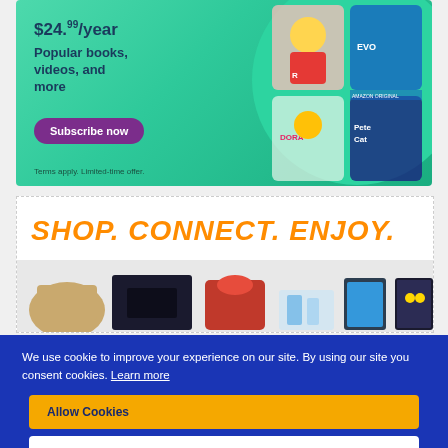[Figure (screenshot): Amazon Kids+ subscription advertisement banner with teal/green background showing cartoon characters (Ryan's World, Dora the Explorer, Pete the Cat) and text '$24.99/year Popular books, videos, and more' with a purple 'Subscribe now' button and 'Terms apply. Limited-time offer.' disclaimer]
[Figure (screenshot): E-commerce advertisement showing 'SHOP. CONNECT. ENJOY.' in large orange italic text with products including a gaming console, KitchenAid mixer, handbag, tablet, cosmetics, and a movie/TV show image]
We use cookie to improve your experience on our site. By using our site you consent cookies. Learn more
Allow Cookies
Decline